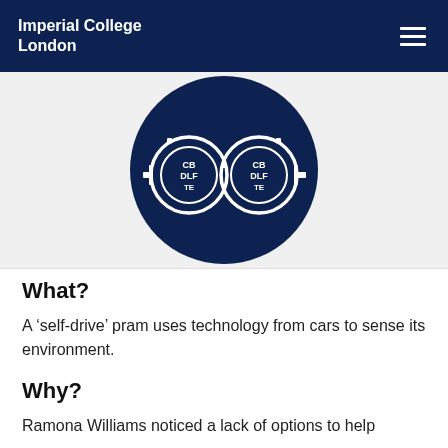Imperial College London
[Figure (logo): Dark navy circular icon with two lens/binocular shapes containing text 'CB DLF TE' on an Imperial College London branded background]
What?
A ‘self-drive’ pram uses technology from cars to sense its environment.
Why?
Ramona Williams noticed a lack of options to help right in caring, a number of detect their children not